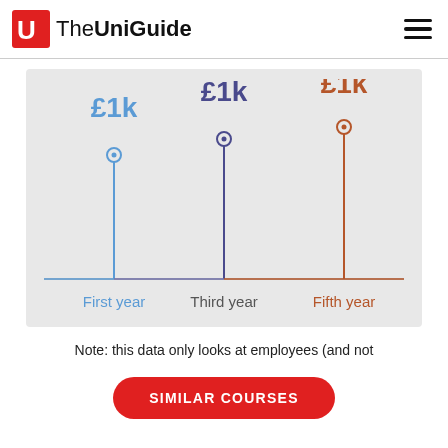The UniGuide
[Figure (bar-chart): Salary by year]
Note: this data only looks at employees (and not
SIMILAR COURSES